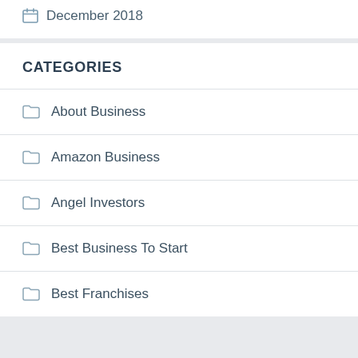December 2018
CATEGORIES
About Business
Amazon Business
Angel Investors
Best Business To Start
Best Franchises